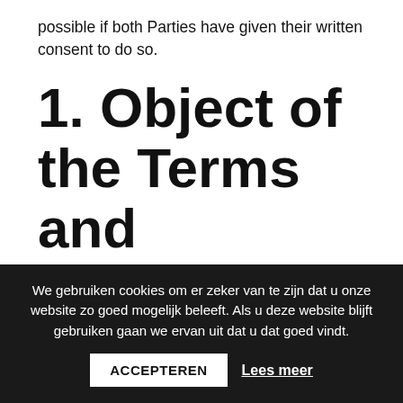possible if both Parties have given their written consent to do so.
1. Object of the Terms and Conditions
These Terms and Conditions apply to the organising of events, hosting of a business club, or offering catering or restaurant services, whether in Gent, Limelette,
We gebruiken cookies om er zeker van te zijn dat u onze website zo goed mogelijk beleeft. Als u deze website blijft gebruiken gaan we ervan uit dat u dat goed vindt.
ACCEPTEREN
Lees meer